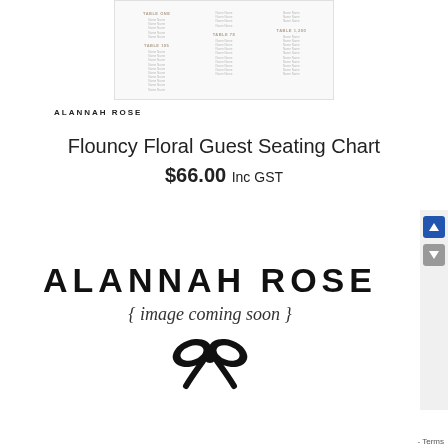[Figure (illustration): Small thumbnail preview of a Flouncy Floral Guest Seating Chart with three columns of guest names]
ALANNAH ROSE
Flouncy Floral Guest Seating Chart
$66.00 Inc GST
[Figure (illustration): Alannah Rose placeholder image with text 'ALANNAH ROSE { image coming soon }' and a bow icon]